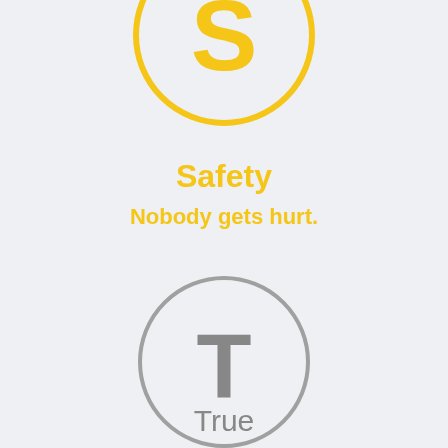[Figure (illustration): Partially visible circle with yellow outline and yellow letter S inside, cropped at the top of the page]
Safety
Nobody gets hurt.
[Figure (illustration): Gray circle outline with gray letter T inside]
True